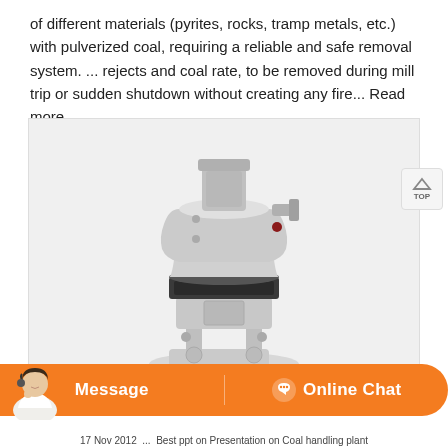of different materials (pyrites, rocks, tramp metals, etc.) with pulverized coal, requiring a reliable and safe removal system. ... rejects and coal rate, to be removed during mill trip or sudden shutdown without creating any fire... Read more
[Figure (photo): Industrial coal mill / pulverizer equipment — a large white cylindrical vertical grinding machine with mechanical components, photographed against a white background inside a light gray bordered image frame.]
17 Nov 2012 ... Best ppt on Presentation on Coal handling plant